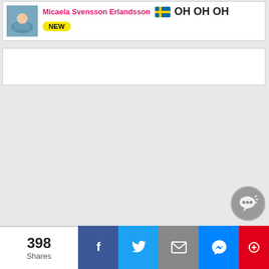Micaela Svensson Erlandsson — OH OH OH — NEW
[Figure (screenshot): White card with user avatar (swimming/lake photo), username in pink 'Micaela Svensson Erlandsson', Swedish flag emoji, bold text 'OH OH OH', and a yellow 'NEW' badge]
[Figure (screenshot): Empty white card/content area below the user card]
398 Shares
[Figure (screenshot): Social share bar with 398 Shares count, Facebook (blue), Twitter (light blue), Email (gray), Messenger (blue), and partial red button. Gray chat bubble icon overlay in bottom right.]